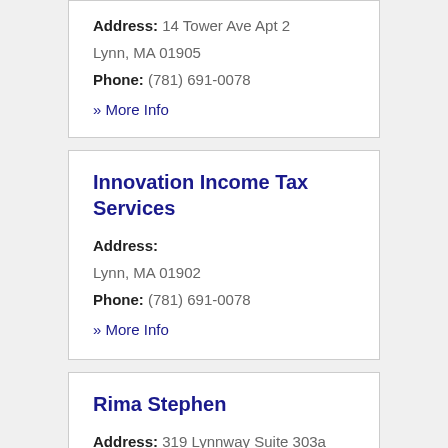Address: 14 Tower Ave Apt 2
Lynn, MA 01905
Phone: (781) 691-0078
» More Info
Innovation Income Tax Services
Address:
Lynn, MA 01902
Phone: (781) 691-0078
» More Info
Rima Stephen
Address: 319 Lynnway Suite 303a
Lynn, MA 01901